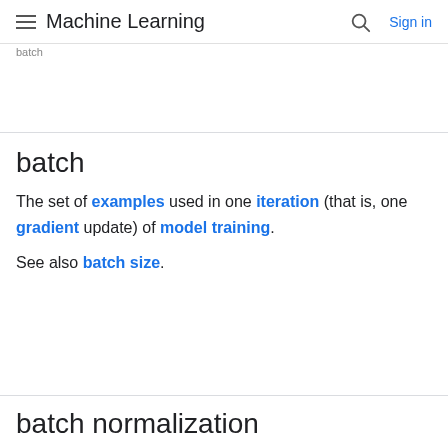Machine Learning  Sign in
batch
batch
The set of examples used in one iteration (that is, one gradient update) of model training.
See also batch size.
batch normalization